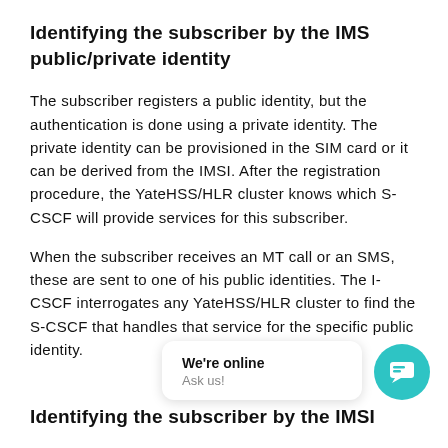Identifying the subscriber by the IMS public/private identity
The subscriber registers a public identity, but the authentication is done using a private identity. The private identity can be provisioned in the SIM card or it can be derived from the IMSI. After the registration procedure, the YateHSS/HLR cluster knows which S-CSCF will provide services for this subscriber.
When the subscriber receives an MT call or an SMS, these are sent to one of his public identities. The I-CSCF interrogates any YateHSS/HLR cluster to find the S-CSCF that handles that service for the specific public identity.
[Figure (other): Live chat widget showing 'We're online / Ask us!' message bubble with teal circular chat icon]
Identifying the subscriber by the IMSI